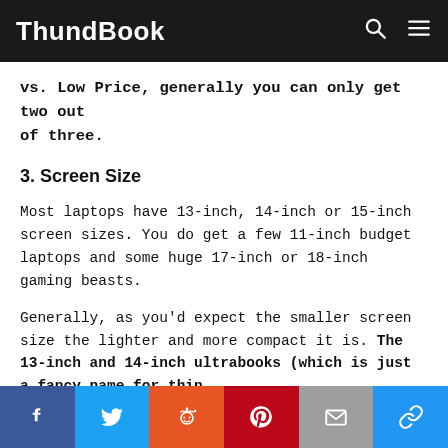ThundBook
vs. Low Price, generally you can only get two out of three.
3. Screen Size
Most laptops have 13-inch, 14-inch or 15-inch screen sizes. You do get a few 11-inch budget laptops and some huge 17-inch or 18-inch gaming beasts.
Generally, as you'd expect the smaller screen size the lighter and more compact it is. The 13-inch and 14-inch ultrabooks (which is just a fancy name for thin
Facebook Twitter Reddit Pinterest Email Link